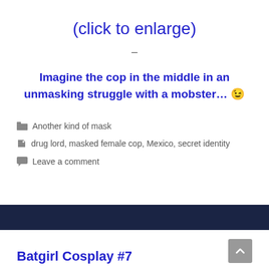(click to enlarge)
–
Imagine the cop in the middle in an unmasking struggle with a mobster… 😉
Another kind of mask
drug lord, masked female cop, Mexico, secret identity
Leave a comment
Batgirl Cosplay #7